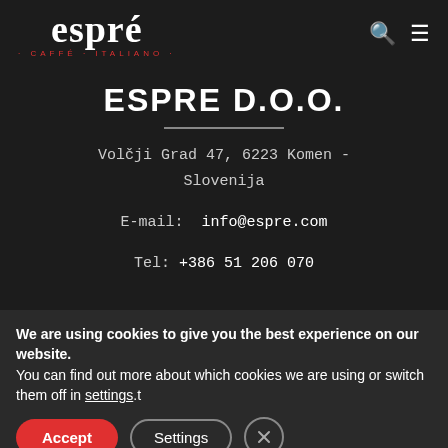[Figure (logo): Espré Caffé Italiano logo in white with red accent on dark background]
ESPRE D.O.O.
Volčji Grad 47, 6223 Komen - Slovenija
E-mail: info@espre.com
Tel: +386 51 206 070
We are using cookies to give you the best experience on our website.
You can find out more about which cookies we are using or switch them off in settings.t